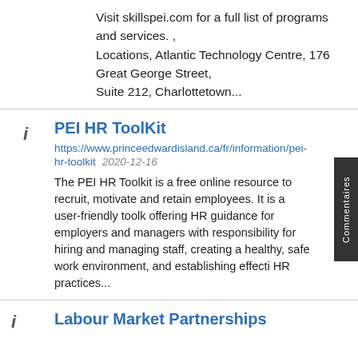Visit skillspei.com for a full list of programs and services. , Locations, Atlantic Technology Centre, 176 Great George Street, Suite 212, Charlottetown...
PEI HR ToolKit
https://www.princeedwardisland.ca/fr/information/pei-hr-toolkit   2020-12-16
The PEI HR Toolkit is a free online resource to recruit, motivate and retain employees. It is a user-friendly toolkit offering HR guidance for employers and managers with responsibility for hiring and managing staff, creating a healthy, safe work environment, and establishing effecti HR practices...
Labour Market Partnerships